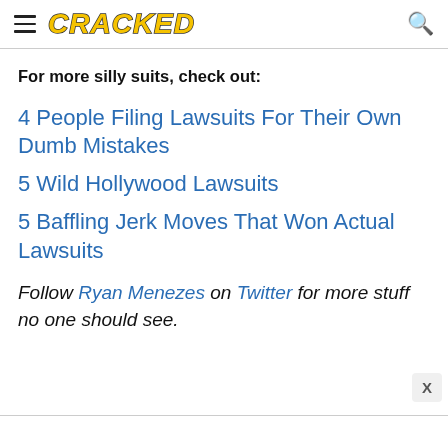CRACKED
For more silly suits, check out:
4 People Filing Lawsuits For Their Own Dumb Mistakes
5 Wild Hollywood Lawsuits
5 Baffling Jerk Moves That Won Actual Lawsuits
Follow Ryan Menezes on Twitter for more stuff no one should see.